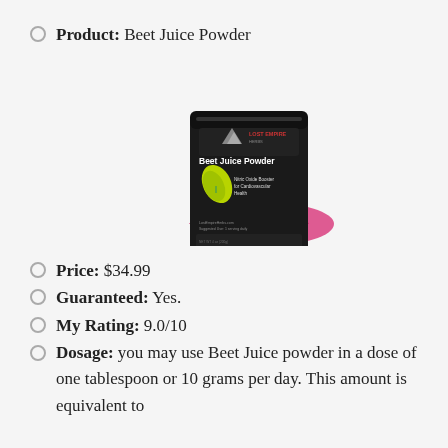Product: Beet Juice Powder
[Figure (photo): Product photo of Lost Empire Herbs Beet Juice Powder black pouch with pink/magenta beet powder pile in front]
Price: $34.99
Guaranteed: Yes.
My Rating: 9.0/10
Dosage: you may use Beet Juice powder in a dose of one tablespoon or 10 grams per day. This amount is equivalent to